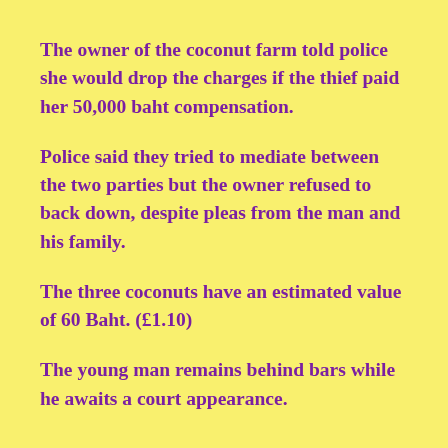The owner of the coconut farm told police she would drop the charges if the thief paid her 50,000 baht compensation.
Police said they tried to mediate between the two parties but the owner refused to back down, despite pleas from the man and his family.
The three coconuts have an estimated value of 60 Baht. (£1.10)
The young man remains behind bars while he awaits a court appearance.